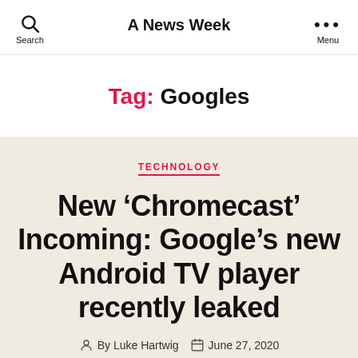A News Week
Tag: Googles
TECHNOLOGY
New ‘Chromecast’ Incoming: Google’s new Android TV player recently leaked
By Luke Hartwig   June 27, 2020